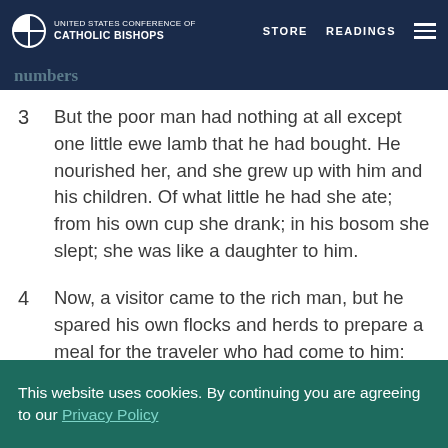United States Conference of Catholic Bishops — STORE  READINGS
numbers
3  But the poor man had nothing at all except one little ewe lamb that he had bought. He nourished her, and she grew up with him and his children. Of what little he had she ate; from his own cup she drank; in his bosom she slept; she was like a daughter to him.
4  Now, a visitor came to the rich man, but he spared his own flocks and herds to prepare a meal for the traveler who had come to him: he took the poor man's ewe lamb and prepared it
This website uses cookies. By continuing you are agreeing to our Privacy Policy